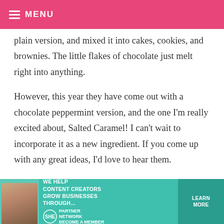MENU
plain version, and mixed it into cakes, cookies, and brownies. The little flakes of chocolate just melt right into anything.

However, this year they have come out with a chocolate peppermint version, and the one I'm really excited about, Salted Caramel! I can't wait to incorporate it as a new ingredient. If you come up with any great ideas, I'd love to hear them.
[Figure (other): SHE Media Partner Network advertisement banner: woman with laptop, text 'WE HELP CONTENT CREATORS GROW BUSINESSES THROUGH...', SHE logo, LEARN MORE button]